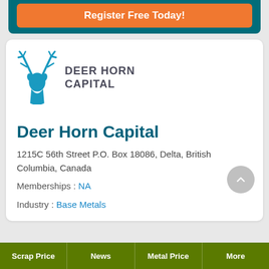Register Free Today!
[Figure (logo): Deer Horn Capital logo: blue deer/stag silhouette with antlers next to text DEER HORN CAPITAL in bold dark grey uppercase letters]
Deer Horn Capital
1215C 56th Street P.O. Box 18086, Delta, British Columbia, Canada
Memberships : NA
Industry : Base Metals
Scrap Price | News | Metal Price | More